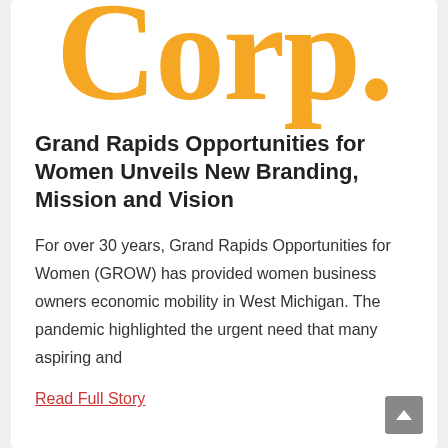[Figure (logo): Large golden/yellow serif font text 'Corp.' partially visible at top of card, cropped]
Grand Rapids Opportunities for Women Unveils New Branding, Mission and Vision
For over 30 years, Grand Rapids Opportunities for Women (GROW) has provided women business owners economic mobility in West Michigan. The pandemic highlighted the urgent need that many aspiring and
Read Full Story